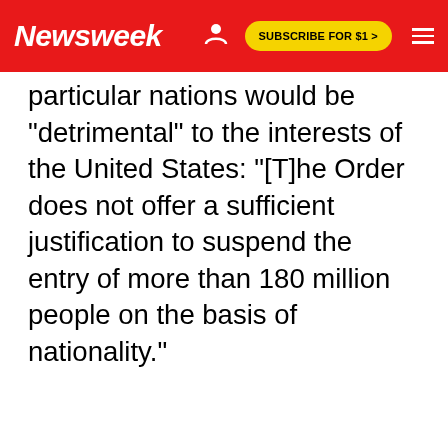Newsweek | SUBSCRIBE FOR $1 >
particular nations would be "detrimental" to the interests of the United States: "[T]he Order does not offer a sufficient justification to suspend the entry of more than 180 million people on the basis of nationality."